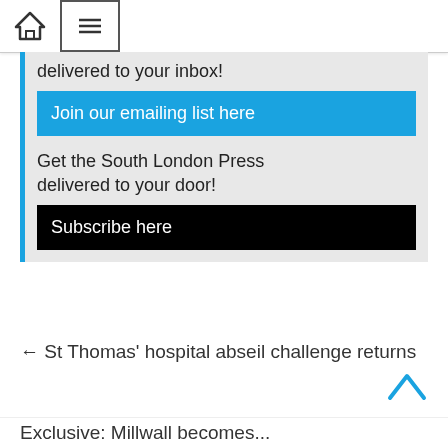🏠 ≡
delivered to your inbox!
Join our emailing list here
Get the South London Press delivered to your door!
Subscribe here
← St Thomas' hospital abseil challenge returns
Exclusive: Millwall becomes...